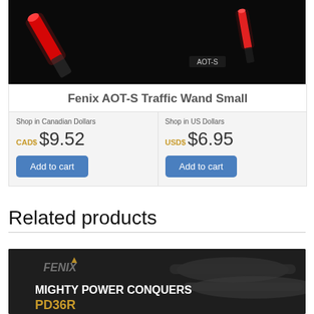[Figure (photo): Photo of Fenix AOT-S Traffic Wand Small with red glowing wands on black background, labeled AOT-S]
Fenix AOT-S Traffic Wand Small
Shop in Canadian Dollars
CADS $9.52
Add to cart
Shop in US Dollars
USDS $6.95
Add to cart
Related products
[Figure (photo): Fenix product photo showing rifles/scopes on dark background with text MIGHTY POWER CONQUERS and PD36R in orange]